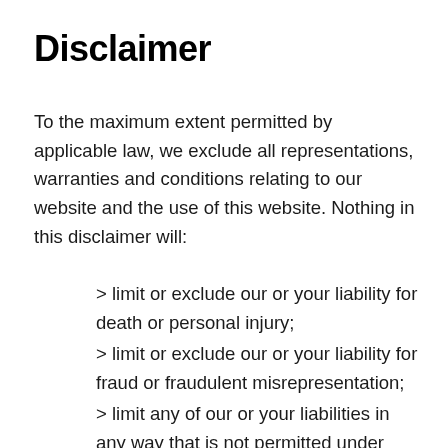Disclaimer
To the maximum extent permitted by applicable law, we exclude all representations, warranties and conditions relating to our website and the use of this website. Nothing in this disclaimer will:
> limit or exclude our or your liability for death or personal injury;
> limit or exclude our or your liability for fraud or fraudulent misrepresentation;
> limit any of our or your liabilities in any way that is not permitted under applicable law; or